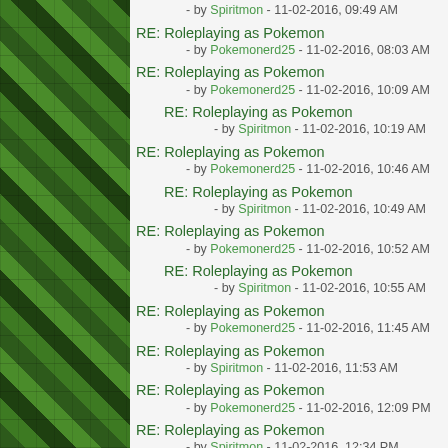RE: Roleplaying as Pokemon - by Spiritmon - 11-02-2016, 09:49 AM
RE: Roleplaying as Pokemon - by Pokemonerd25 - 11-02-2016, 08:03 AM
RE: Roleplaying as Pokemon - by Pokemonerd25 - 11-02-2016, 10:09 AM
RE: Roleplaying as Pokemon - by Spiritmon - 11-02-2016, 10:19 AM
RE: Roleplaying as Pokemon - by Pokemonerd25 - 11-02-2016, 10:46 AM
RE: Roleplaying as Pokemon - by Spiritmon - 11-02-2016, 10:49 AM
RE: Roleplaying as Pokemon - by Pokemonerd25 - 11-02-2016, 10:52 AM
RE: Roleplaying as Pokemon - by Spiritmon - 11-02-2016, 10:55 AM
RE: Roleplaying as Pokemon - by Pokemonerd25 - 11-02-2016, 11:45 AM
RE: Roleplaying as Pokemon - by Spiritmon - 11-02-2016, 11:53 AM
RE: Roleplaying as Pokemon - by Pokemonerd25 - 11-02-2016, 12:09 PM
RE: Roleplaying as Pokemon - by Spiritmon - 11-02-2016, 12:34 PM
RE: Roleplaying as Pokemon - by Pokemonerd25 - 11-02-2016, 12:42 PM
RE: Roleplaying as Pokemon - by Spiritmon - 11-02-2016, 01:10 PM